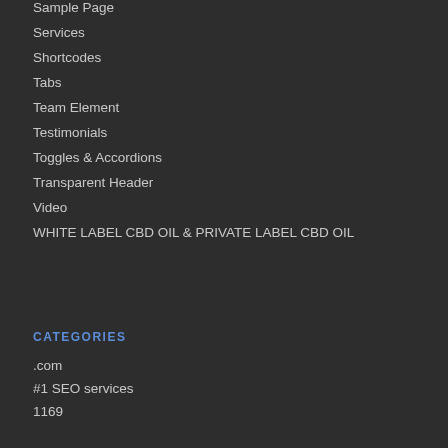Sample Page
Services
Shortcodes
Tabs
Team Element
Testimonials
Toggles & Accordions
Transparent Header
Video
WHITE LABEL CBD OIL & PRIVATE LABEL CBD OIL
CATEGORIES
.com
#1 SEO services
1169